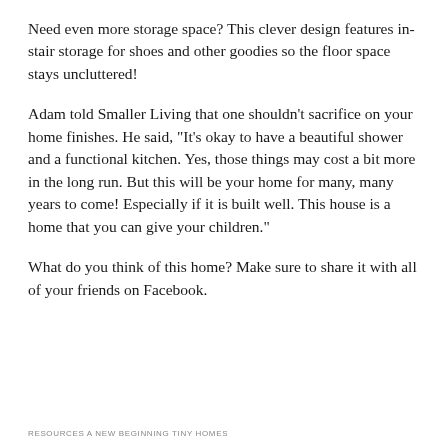Need even more storage space? This clever design features in-stair storage for shoes and other goodies so the floor space stays uncluttered!
Adam told Smaller Living that one shouldn't sacrifice on your home finishes. He said, "It's okay to have a beautiful shower and a functional kitchen. Yes, those things may cost a bit more in the long run. But this will be your home for many, many years to come! Especially if it is built well. This house is a home that you can give your children."
What do you think of this home? Make sure to share it with all of your friends on Facebook.
RESOURCES A NEW BEGINNING TINY HOMES